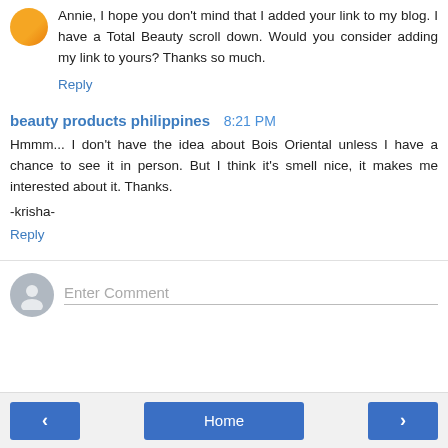Annie, I hope you don't mind that I added your link to my blog. I have a Total Beauty scroll down. Would you consider adding my link to yours? Thanks so much.
Reply
beauty products philippines  8:21 PM
Hmmm... I don't have the idea about Bois Oriental unless I have a chance to see it in person. But I think it's smell nice, it makes me interested about it. Thanks.

-krisha-
Reply
Enter Comment
< Home >